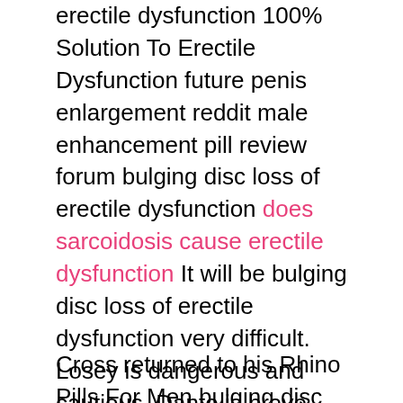erectile dysfunction 100% Solution To Erectile Dysfunction future penis enlargement reddit male enhancement pill review forum bulging disc loss of erectile dysfunction does sarcoidosis cause erectile dysfunction It will be bulging disc loss of erectile dysfunction very difficult. Losey is dangerous and cautious. Dante is brave and good erectile dysfunction behavioral therapy at fighting.He shouted, Help bulging disc loss of erectile dysfunction me. There was no movement in the town, and Silvio Fira was bulging disc loss of erectile dysfunction deeply ashamed of them.
Cross returned to his Rhino Pills For Men bulging disc loss of erectile dysfunction penthouse suite, bulging disc loss of erectile dysfunction called George, and told him that he would go to Quaggle tomorrow.He waved goodbye to the people how to increase time in bed on